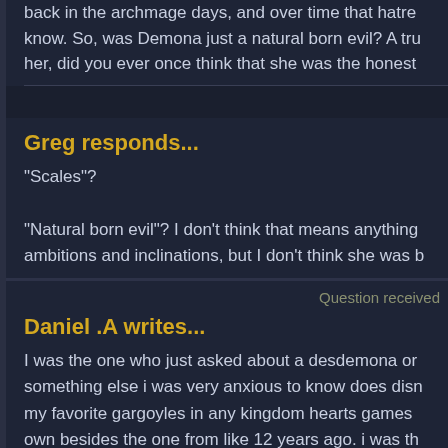back in the archmage days, and over time that hatre know. So, was Demona just a natural born evil? A tru her, did you ever once think that she was the honest
Greg responds...
"Scales"?
"Natural born evil"? I don't think that means anything ambitions and inclinations, but I don't think she was b sense.
Question received
Daniel .A writes...
I was the one who just asked about a desdemona or something else i was very anxious to know does disn my favorite gargoyles in any kingdom hearts games own besides the one from like 12 years ago. i was th gargoyles game for Nintendo ds or psp that starts ou